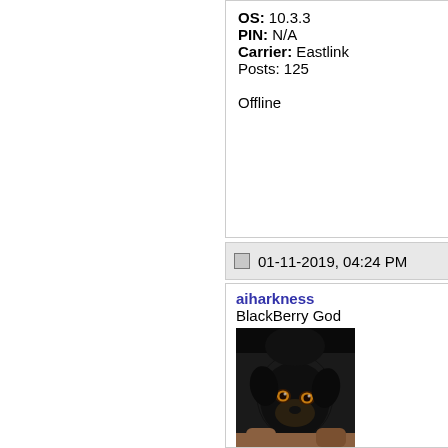OS: 10.3.3
PIN: N/A
Carrier: Eastlink
Posts: 125

Offline
01-11-2019, 04:24 PM
aiharkness
BlackBerry God
Join Date: Jul 2005
Location: Florida Panhandle
Model: BBPP
OS: 10.3.3
Carrier: T-Mobile USA
Posts: 14,081
[Figure (photo): Profile photo of a black dog (Rottweiler or similar breed) held in someone's hands, close-up of the dog's face]
Re: C...
For what... on one W... coincide... machine... WIN10 (... updates,... manufac...

Here's m... but you c... count on... are it wil... totally qu...

There w...